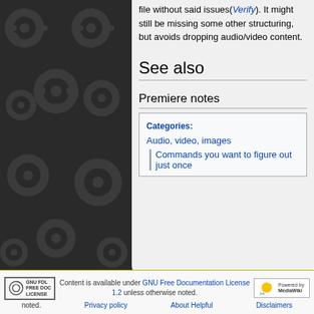file without said issues(Verify). It might still be missing some other structuring, but avoids dropping audio/video content.
See also
Premiere notes
Categories: Audio, video, images | Commands you want to figure out just once
Content is available under GNU Free Documentation License 1.2 unless otherwise noted. Privacy policy About Helpful Disclaimers